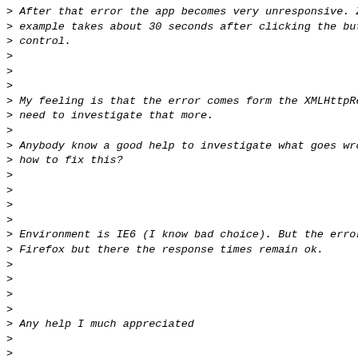> After that error the app becomes very unresponsive. Zoo
> example takes about 30 seconds after clicking the butto
> control.
>
>
>
> My feeling is that the error comes form the XMLHttpRequ
> need to investigate that more.
>
> Anybody know a good help to investigate what goes wrong
> how to fix this?
>
>
>
>
> Environment is IE6 (I know bad choice). But the error a
> Firefox but there the response times remain ok.
>
>
>
>
> Any help I much appreciated
>
>
>
> Cheers
>
>
>
>
> Kris Geusebroek
>
> Consultant